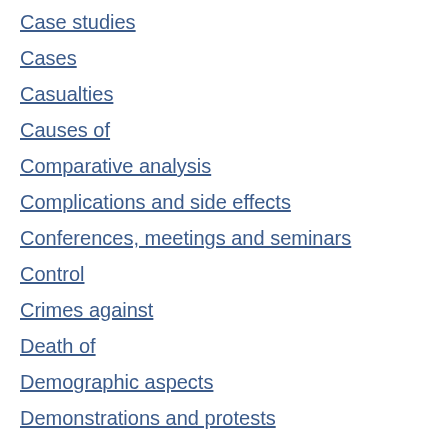Case studies
Cases
Casualties
Causes of
Comparative analysis
Complications and side effects
Conferences, meetings and seminars
Control
Crimes against
Death of
Demographic aspects
Demonstrations and protests